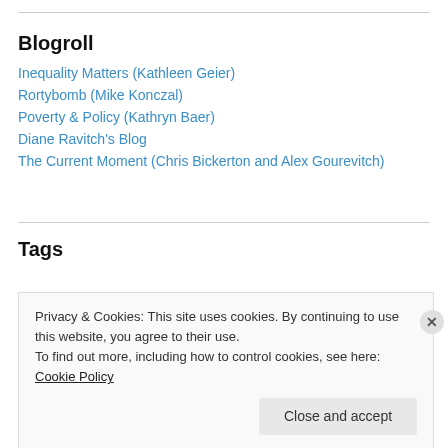Blogroll
Inequality Matters (Kathleen Geier)
Rortybomb (Mike Konczal)
Poverty & Policy (Kathryn Baer)
Diane Ravitch's Blog
The Current Moment (Chris Bickerton and Alex Gourevitch)
Tags
Privacy & Cookies: This site uses cookies. By continuing to use this website, you agree to their use. To find out more, including how to control cookies, see here: Cookie Policy